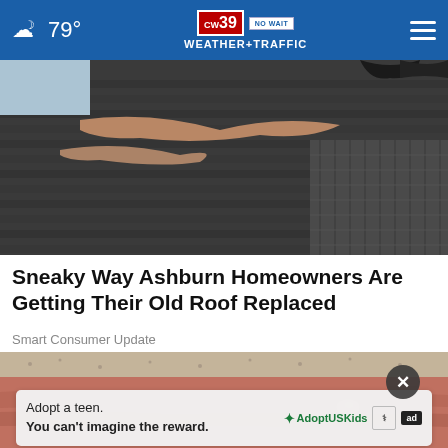79° CW39 NO WAIT WEATHER+TRAFFIC
[Figure (photo): Close-up photo of damaged roof shingles with exposed wood/underlayment showing storm damage]
Sneaky Way Ashburn Homeowners Are Getting Their Old Roof Replaced
Smart Consumer Update
[Figure (photo): Close-up photo of a person's aged/wrinkled hand with a small blister or skin irregularity]
Adopt a teen. You can't imagine the reward.